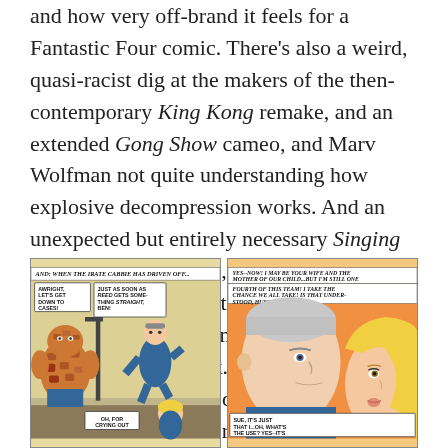and how very off-brand it feels for a Fantastic Four comic. There's also a weird, quasi-racist dig at the makers of the then-contemporary King Kong remake, and an extended Gong Show cameo, and Marv Wolfman not quite understanding how explosive decompression works. And an unexpected but entirely necessary Singing In The Rain reference, too, and Jeff wondering aloud what went wrong in transitioning the Inhumans into anchoring their own comic book. We really make the most out of what Jeff describes as a serious contender for "the worst comic. Just the worst."
[Figure (illustration): Two Fantastic Four comic book panels side by side. Left panel shows The Thing and Reed Richards with speech bubbles. Right panel shows close-up faces of Reed Richards and Sue Storm with speech bubbles.]